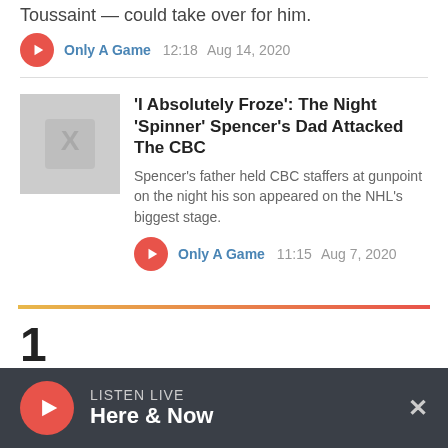Toussaint — could take over for him.
Only A Game  12:18  Aug 14, 2020
'I Absolutely Froze': The Night 'Spinner' Spencer's Dad Attacked The CBC
Spencer's father held CBC staffers at gunpoint on the night his son appeared on the NHL's biggest stage.
Only A Game  11:15  Aug 7, 2020
LISTEN LIVE
Here & Now